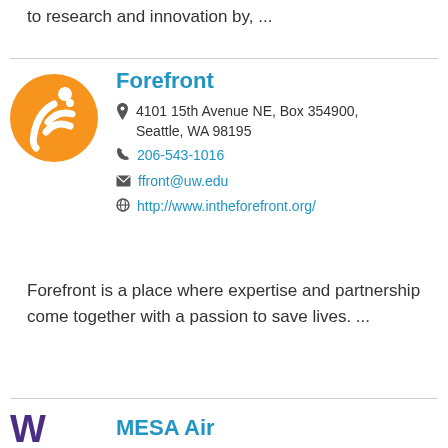to research and innovation by, ...
[Figure (logo): Forefront orange circle logo with white figure and F shape]
Forefront
4101 15th Avenue NE, Box 354900, Seattle, WA 98195
206-543-1016
ffront@uw.edu
http://www.intheforefront.org/
Forefront is a place where expertise and partnership come together with a passion to save lives. ...
[Figure (logo): University of Washington W logo in purple]
MESA Air